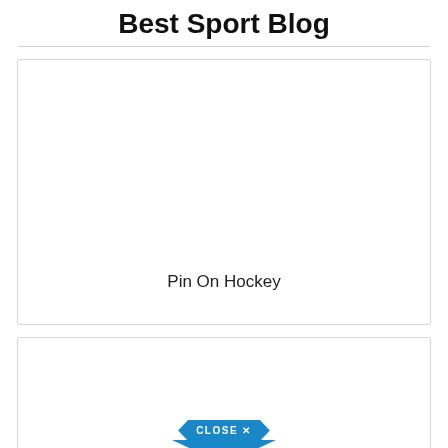Best Sport Blog
[Figure (other): Empty white card placeholder with text 'Pin On Hockey' at the bottom]
Pin On Hockey
[Figure (other): Card with a blue 'CLOSE X' hexagonal/arrow-shaped button at the bottom center]